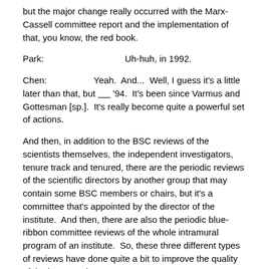but the major change really occurred with the Marx-Cassell committee report and the implementation of that, you know, the red book.
Park:                    Uh-huh, in 1992.
Chen:                    Yeah.  And...  Well, I guess it's a little later than that, but _____ '94.  It's been since Varmus and Gottesman [sp.].  It's really become quite a powerful set of actions.
And then, in addition to the BSC reviews of the scientists themselves, the independent investigators, tenure track and tenured, there are the periodic reviews of the scientific directors by another group that may contain some BSC members or chairs, but it's a committee that's appointed by the director of the institute.  And then, there are also the periodic blue-ribbon committee reviews of the whole intramural program of an institute.  So, these three different types of reviews have done quite a bit to improve the quality of the intramural program.